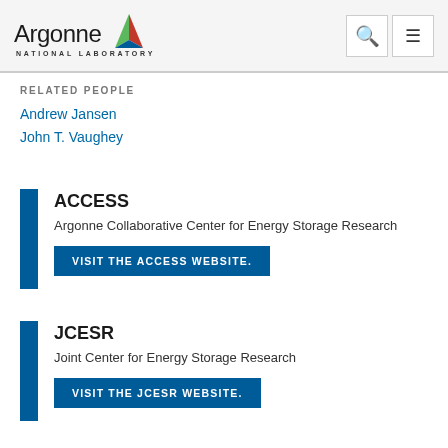[Figure (logo): Argonne National Laboratory logo with colorful triangle and text]
RELATED PEOPLE
Andrew Jansen
John T. Vaughey
ACCESS
Argonne Collaborative Center for Energy Storage Research
VISIT THE ACCESS WEBSITE.
JCESR
Joint Center for Energy Storage Research
VISIT THE JCESR WEBSITE.